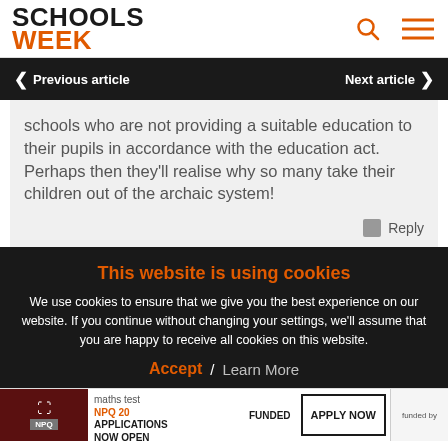SCHOOLS WEEK
Previous article | Next article
schools who are not providing a suitable education to their pupils in accordance with the education act. Perhaps then they'll realise why so many take their children out of the archaic system!
Reply
This website is using cookies
We use cookies to ensure that we give you the best experience on our website. If you continue without changing your settings, we'll assume that you are happy to receive all cookies on this website.
Accept | Learn More
maths test
NPQ 202 APPLICATIONS NOW OPEN FUNDED APPLY NOW